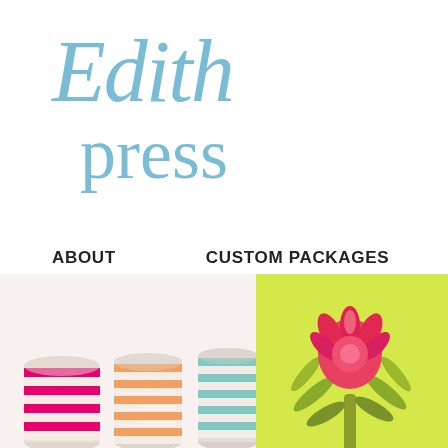Edith press
ABOUT
CUSTOM PACKAGES
PR SERVICES
CONTACT
NOTES
[Figure (photo): Three colorful ribbon spools (pink, orange, teal) on a light background]
[Figure (photo): Pink protea flower on a bright lime/yellow-green background]